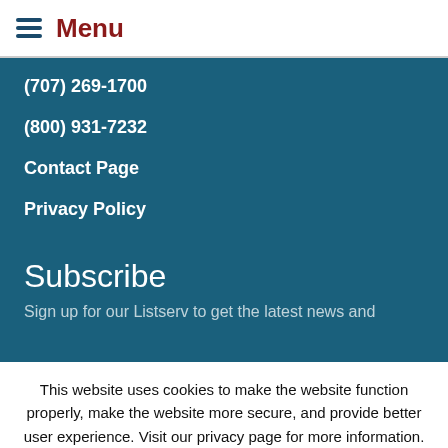Menu
(707) 269-1700
(800) 931-7232
Contact Page
Privacy Policy
Subscribe
Sign up for our Listserv to get the latest news and
This website uses cookies to make the website function properly, make the website more secure, and provide better user experience. Visit our privacy page for more information. Cookie settings CLOSE Privacy Page